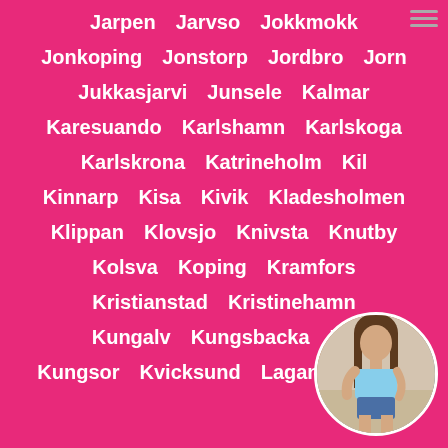Jarpen  Jarvso  Jokkmokk
Jonkoping  Jonstorp  Jordbro  Jorn
Jukkasjarvi  Junsele  Kalmar
Karesuando  Karlshamn  Karlskoga
Karlskrona  Katrineholm  Kil
Kinnarp  Kisa  Kivik  Kladesholmen
Klippan  Klovsjo  Knivsta  Knutby
Kolsva  Koping  Kramfors
Kristianstad  Kristinehamn
Kungalv  Kungsbacka  Ku...
Kungsor  Kvicksund  Lagan  Lanolm
[Figure (photo): Circular cropped photo of a young woman seated, wearing a light blue top and denim shorts, with long brown hair, positioned in bottom-right corner]